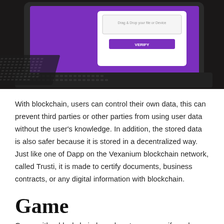[Figure (photo): A laptop computer with a purple screen showing a file verification/document upload interface with a 'Drag & Drop your file or Device' prompt and a 'VERIFY' button, photographed at an angle against a dark background.]
With blockchain, users can control their own data, this can prevent third parties or other parties from using user data without the user's knowledge. In addition, the stored data is also safer because it is stored in a decentralized way. Just like one of Dapp on the Vexanium blockchain network, called Trusti, it is made to certify documents, business contracts, or any digital information with blockchain.
Game
Game with a blockchain-based system can verify and secure all varieties of digital information, as well as in-game